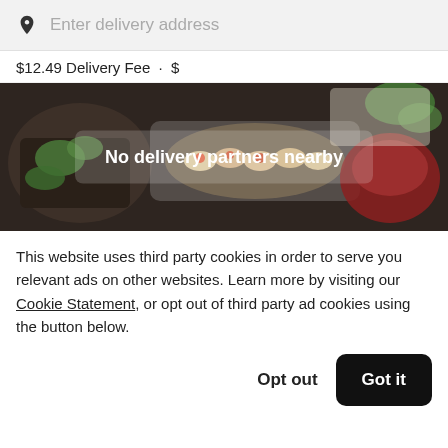Enter delivery address
$12.49 Delivery Fee · $
[Figure (photo): Food delivery app screenshot showing a dark overlay image of various food dishes on a table. A semi-transparent white box in the center contains the text 'No delivery partners nearby'.]
This website uses third party cookies in order to serve you relevant ads on other websites. Learn more by visiting our Cookie Statement, or opt out of third party ad cookies using the button below.
Opt out
Got it